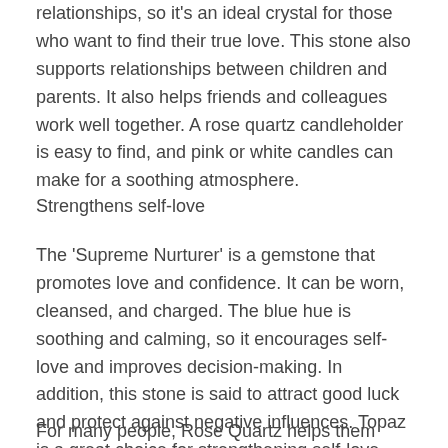relationships, so it's an ideal crystal for those who want to find their true love. This stone also supports relationships between children and parents. It also helps friends and colleagues work well together. A rose quartz candleholder is easy to find, and pink or white candles can make for a soothing atmosphere.
Strengthens self-love
The 'Supreme Nurturer' is a gemstone that promotes love and confidence. It can be worn, cleansed, and charged. The blue hue is soothing and calming, so it encourages self-love and improves decision-making. In addition, this stone is said to attract good luck and protect against negative influences. Topaz is a great choice for strengthening self-love and confidence.
For many people, Rose Quartz helps them reconnect with